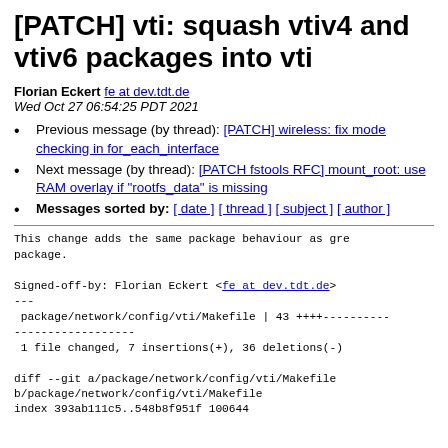[PATCH] vti: squash vtiv4 and vtiv6 packages into vti
Florian Eckert fe at dev.tdt.de
Wed Oct 27 06:54:25 PDT 2021
Previous message (by thread): [PATCH] wireless: fix mode checking in for_each_interface
Next message (by thread): [PATCH fstools RFC] mount_root: use RAM overlay if "rootfs_data" is missing
Messages sorted by: [ date ] [ thread ] [ subject ] [ author ]
This change adds the same package behaviour as gre
package.

Signed-off-by: Florian Eckert <fe at dev.tdt.de>
---
 package/network/config/vti/Makefile | 43 ++++----------
------------------
 1 file changed, 7 insertions(+), 36 deletions(-)

diff --git a/package/network/config/vti/Makefile
b/package/network/config/vti/Makefile
index 393ab111c5..548b8f951f 100644